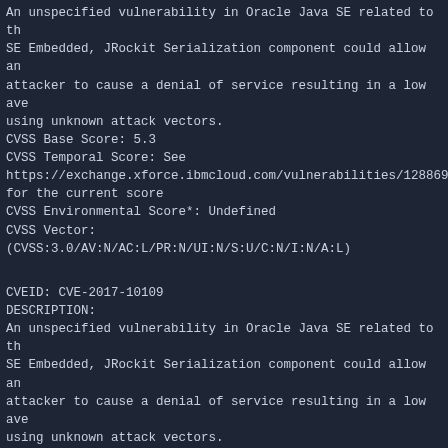An unspecified vulnerability in Oracle Java SE related to the SE Embedded, JRockit Serialization component could allow an attacker to cause a denial of service resulting in a low availability using unknown attack vectors.
CVSS Base Score: 5.3
CVSS Temporal Score: See
https://exchange.xforce.ibmcloud.com/vulnerabilities/128869
for the current score
CVSS Environmental Score*: Undefined
CVSS Vector: (CVSS:3.0/AV:N/AC:L/PR:N/UI:N/S:U/C:N/I:N/A:L)
CVEID: CVE-2017-10109
DESCRIPTION:
An unspecified vulnerability in Oracle Java SE related to the SE Embedded, JRockit Serialization component could allow an attacker to cause a denial of service resulting in a low availability using unknown attack vectors.
CVSS Base Score: 5.3
CVSS Temporal Score: See
https://exchange.xforce.ibmcloud.com/vulnerabilities/128870
for the current score
CVSS Environmental Score*: Undefined
CVSS Vector: (CVSS:3.0/AV:N/AC:L/PR:N/UI:N/S:U/C:N/I:N/A:L)
CVEID: CVE-2017-10135
DESCRIPTION:
An unspecified vulnerability in Oracle Java SE related to the SE Embedded, JRockit JCE component could allow an unauthenticated attacker to obtain sensitive information resulting in a high confidentiality impact using unknown attack vectors.
CVSS Base Score: 5.9
CVSS Temporal Score: See
https://exchange.xforce.ibmcloud.com/vulnerabilities/128894